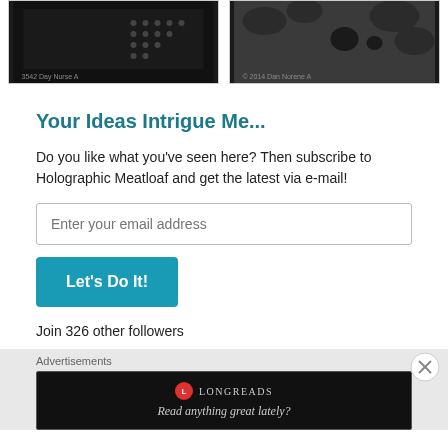[Figure (photo): Two dark grayscale images side by side at top of page, showing textured surfaces with dots/holes]
Your Ideas Intrigue Me...
Do you like what you've seen here? Then subscribe to Holographic Meatloaf and get the latest via e-mail!
Enter your email address
Let's Do It!
Join 326 other followers
Advertisements
[Figure (screenshot): Longreads advertisement banner with dark background showing logo and tagline 'Read anything great lately?']